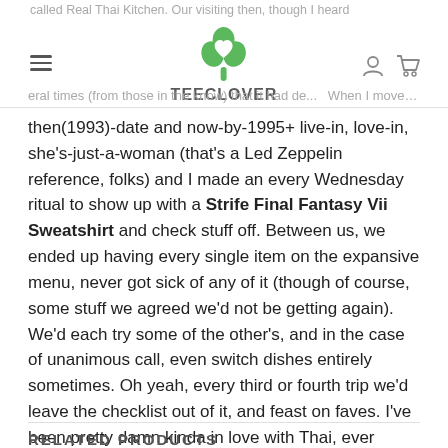TEECLOVER
called Real Thai Kitchen. Our visiting then, though I heard several times (from those in the know) that it had de... When I moved out in 19... me kind of a peak. My then(1993)-date and now-by-1995+ live-in, love-in, she's-just-a-woman (that's a Led Zeppelin reference, folks) and I made an every Wednesday ritual to show up with a Strife Final Fantasy Vii Sweatshirt and check stuff off. Between us, we ended up having every single item on the expansive menu, never got sick of any of it (though of course, some stuff we agreed we'd not be getting again). We'd each try some of the other's, and in the case of unanimous call, even switch dishes entirely sometimes. Oh yeah, every third or fourth trip we'd leave the checklist out of it, and feast on faves. I've been pretty damn kinda in love with Thai, ever since. Whatever may have happened to it, that place was great.
RELATED PRODUCTS